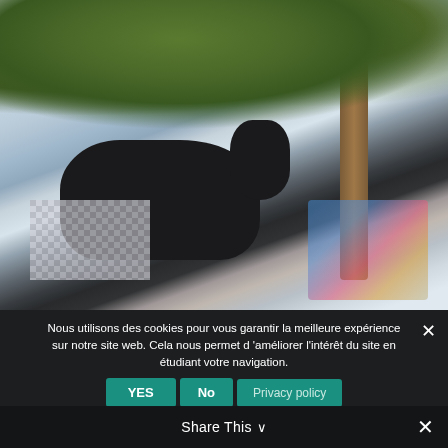[Figure (photo): A black cat silhouette standing among trees and foliage, with colorful items and checkered fabric visible in the background. The image has a washed-out, slightly overexposed appearance.]
Nous utilisons des cookies pour vous garantir la meilleure expérience sur notre site web. Cela nous permet d'améliorer l'intérêt du site en étudiant votre navigation.
YES  No  Privacy policy
Share This ∨  ✕